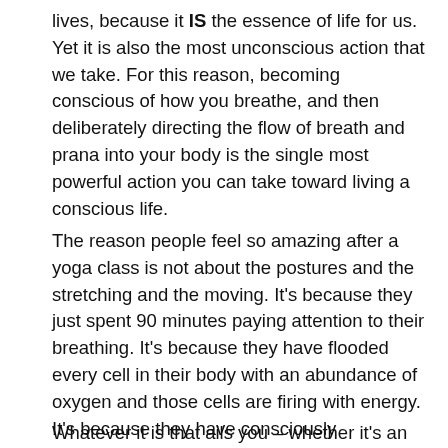lives, because it IS the essence of life for us. Yet it is also the most unconscious action that we take. For this reason, becoming conscious of how you breathe, and then deliberately directing the flow of breath and prana into your body is the single most powerful action you can take toward living a conscious life.
The reason people feel so amazing after a yoga class is not about the postures and the stretching and the moving. It's because they just spent 90 minutes paying attention to their breathing. It's because they have flooded every cell in their body with an abundance of oxygen and those cells are firing with energy. It's because they have consciously connected to prana – the life force that permeates the universe.
Whatever it is that ails you – whether it's an